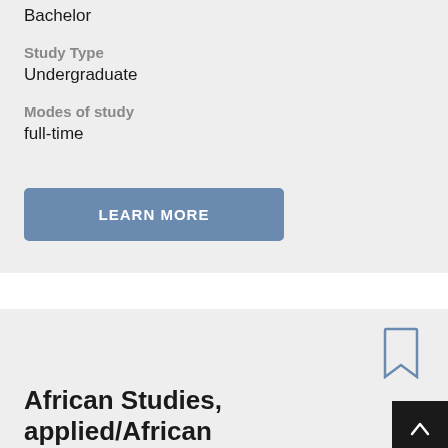Bachelor
Study Type
Undergraduate
Modes of study
full-time
LEARN MORE
African Studies, applied/African